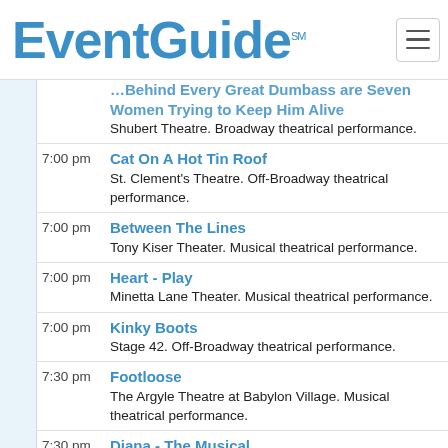EventGuide℠
7:00 pm — Seven Women Trying to Keep Him Alive — Shubert Theatre. Broadway theatrical performance.
7:00 pm — Cat On A Hot Tin Roof — St. Clement's Theatre. Off-Broadway theatrical performance.
7:00 pm — Between The Lines — Tony Kiser Theater. Musical theatrical performance.
7:00 pm — Heart - Play — Minetta Lane Theater. Musical theatrical performance.
7:00 pm — Kinky Boots — Stage 42. Off-Broadway theatrical performance.
7:30 pm — Footloose — The Argyle Theatre at Babylon Village. Musical theatrical performance.
7:30 pm — Diana - The Musical — Longacre Theatre. Broadway theatrical performance.
7:30 pm — Drunk Shakespeare — Green Fig. Musical theatrical performance.
8:00 pm — Chicago - The Musical — Ambassador Theatre. This Tony Award winning